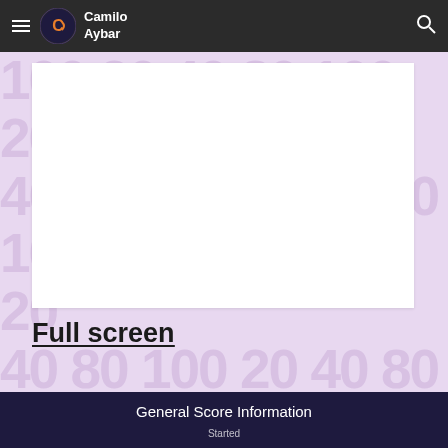Camilo Aybar
[Figure (screenshot): White blank content area embedded in lavender background]
Full screen
General Score Information
Started